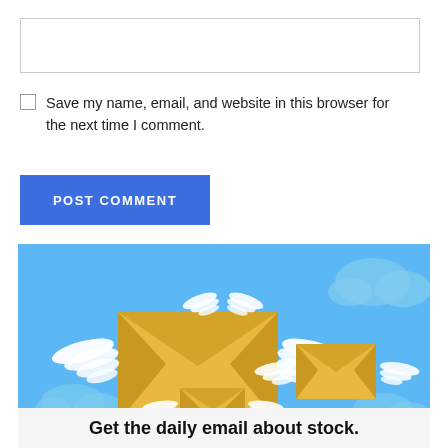Save my name, email, and website in this browser for the next time I comment.
POST COMMENT
[Figure (illustration): Flying envelopes with wings on a blue sky background with clouds — email newsletter illustration]
Get the daily email about stock.